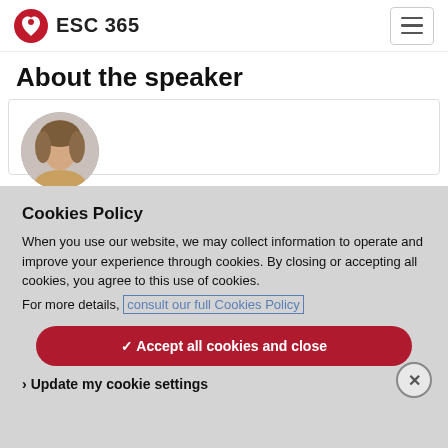ESC 365
About the speaker
[Figure (photo): Speaker profile photo - partial view of a person with brown hair in a circular crop]
Cookies Policy
When you use our website, we may collect information to operate and improve your experience through cookies. By closing or accepting all cookies, you agree to this use of cookies.
For more details, consult our full Cookies Policy
✓ Accept all cookies and close
› Update my cookie settings